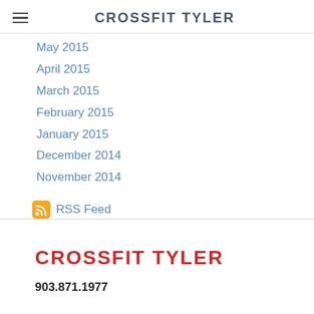CROSSFIT TYLER
May 2015
April 2015
March 2015
February 2015
January 2015
December 2014
November 2014
RSS Feed
CROSSFIT TYLER
903.871.1977